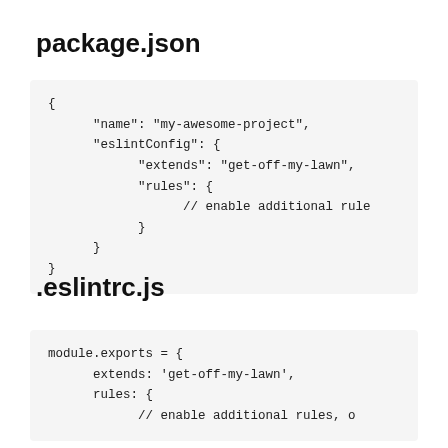package.json
{
      "name": "my-awesome-project",
      "eslintConfig": {
            "extends": "get-off-my-lawn",
            "rules": {
                  // enable additional rule
            }
      }
}
.eslintrc.js
module.exports = {
      extends: 'get-off-my-lawn',
      rules: {
            // enable additional rules, o
      {